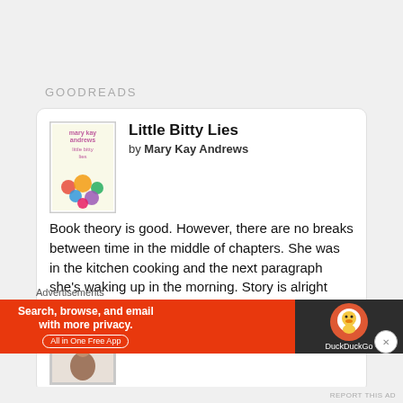GOODREADS
Little Bitty Lies
by Mary Kay Andrews
Book theory is good. However, there are no breaks between time in the middle of chapters. She was in the kitchen cooking and the next paragraph she's waking up in the morning. Story is alright
Is Everyone Hanging Out Without Me?
Advertisements
Search, browse, and email with more privacy. All in One Free App
REPORT THIS AD